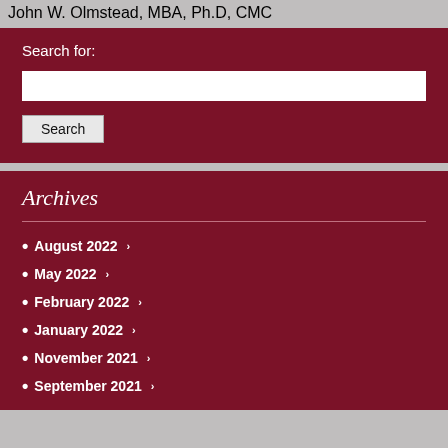John W. Olmstead, MBA, Ph.D, CMC
Search for:
Archives
August 2022
May 2022
February 2022
January 2022
November 2021
September 2021